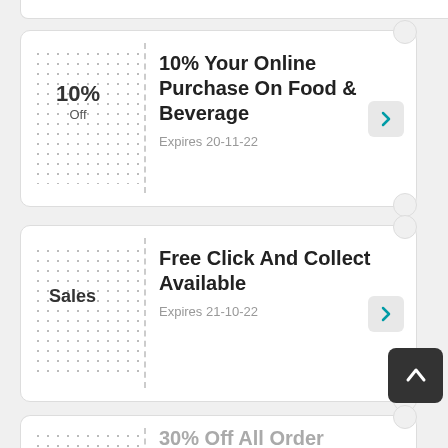10%
Off
10% Your Online Purchase On Food & Beverage
Expires 20-11-22
Sales
Free Click And Collect Available
Expires 21-10-22
30%
Off
30% Off All Order
Expired 22-8-22